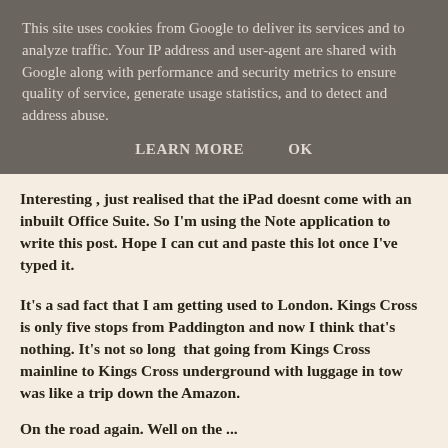This site uses cookies from Google to deliver its services and to analyze traffic. Your IP address and user-agent are shared with Google along with performance and security metrics to ensure quality of service, generate usage statistics, and to detect and address abuse.
LEARN MORE   OK
Interesting , just realised that the iPad doesnt come with an inbuilt Office Suite. So I'm using the Note application to write this post. Hope I can cut and paste this lot once I've typed it.
It's a sad fact that I am getting used to London. Kings Cross is only five stops from Paddington and now I think that's nothing. It's not so long  that going from Kings Cross mainline to Kings Cross underground with luggage in tow was like a trip down the Amazon.
On the road again. Well on the ...